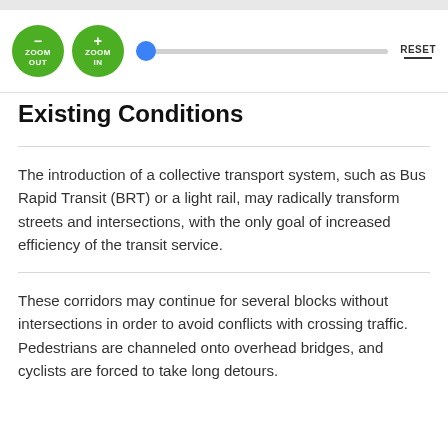[Figure (screenshot): Zoom controls toolbar with ZOOM OUT and ZOOM IN green circular buttons, a slider with a blue thumb positioned at the leftmost point, and a RESET button with underline on the right.]
Existing Conditions
The introduction of a collective transport system, such as Bus Rapid Transit (BRT) or a light rail, may radically transform streets and intersections, with the only goal of increased efficiency of the transit service.
These corridors may continue for several blocks without intersections in order to avoid conflicts with crossing traffic. Pedestrians are channeled onto overhead bridges, and cyclists are forced to take long detours.